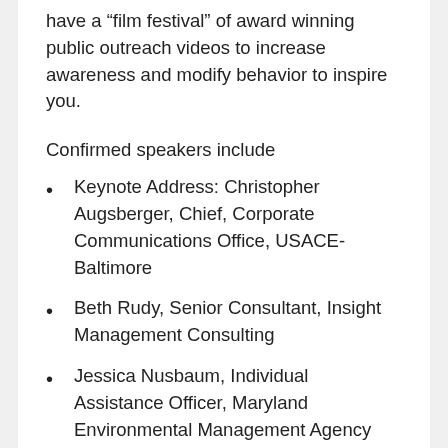have a “film festival” of award winning public outreach videos to increase awareness and modify behavior to inspire you.
Confirmed speakers include
Keynote Address: Christopher Augsberger, Chief, Corporate Communications Office, USACE-Baltimore
Beth Rudy, Senior Consultant, Insight Management Consulting
Jessica Nusbaum, Individual Assistance Officer, Maryland Environmental Management Agency
Katrina Jones, Outreach Coordinator for